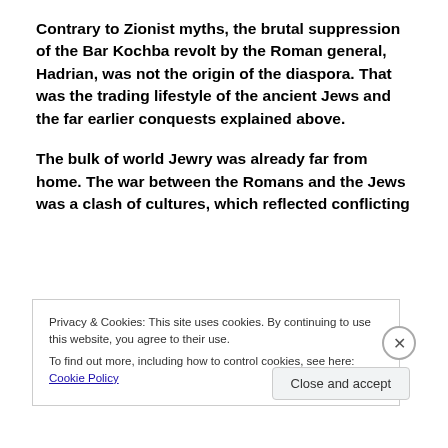Contrary to Zionist myths, the brutal suppression of the Bar Kochba revolt by the Roman general, Hadrian, was not the origin of the diaspora. That was the trading lifestyle of the ancient Jews and the far earlier conquests explained above.
The bulk of world Jewry was already far from home. The war between the Romans and the Jews was a clash of cultures, which reflected conflicting
Privacy & Cookies: This site uses cookies. By continuing to use this website, you agree to their use.
To find out more, including how to control cookies, see here: Cookie Policy